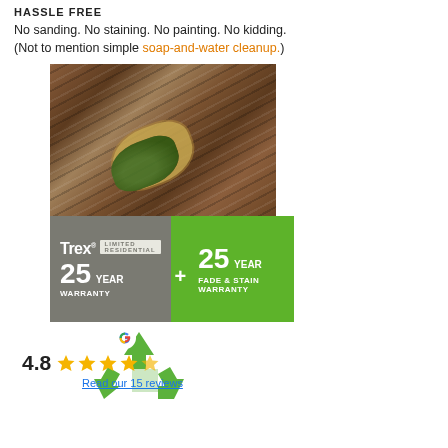HASSLE FREE
No sanding. No staining. No painting. No kidding. (Not to mention simple soap-and-water cleanup.)
[Figure (photo): A composite image showing a close-up of Trex composite decking boards (brown wood-grain texture) with a sponge and green leaf on top, and below it a Trex warranty graphic showing '25 YEAR WARRANTY + 25 YEAR FADE & STAIN WARRANTY' with LIMITED RESIDENTIAL text on a grey and green background.]
4.8
[Figure (other): Google review rating widget showing 4.8 stars (5 gold stars) and a link 'Read our 15 reviews', with a recycle arrows logo in green in the background.]
Read our 15 reviews